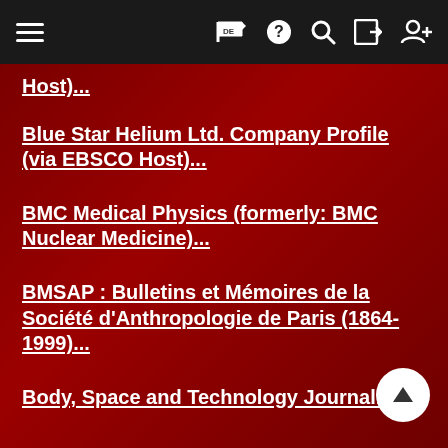Navigation bar with hamburger menu, flag DE, help, search, login, and user icons
Host)...
Blue Star Helium Ltd. Company Profile (via EBSCO Host)...
BMC Medical Physics (formerly: BMC Nuclear Medicine)...
BMSAP : Bulletins et Mémoires de la Société d'Anthropologie de Paris (1864-1999)...
Body, Space and Technology Journal...